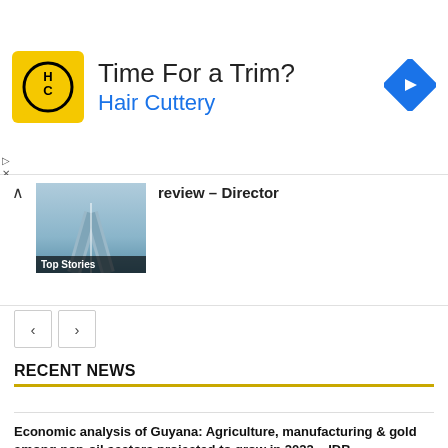[Figure (other): Advertisement banner for Hair Cuttery with HC logo, text 'Time For a Trim? Hair Cuttery', navigation arrow icon]
review – Director
Top Stories
RECENT NEWS
Economic analysis of Guyana: Agriculture, manufacturing & gold among non-oil sectors projected to grow in 2022 – IDB
August 21, 2022
Govt leaning towards small refinery against bigger operations – VP Jagdeo
August 21, 2022